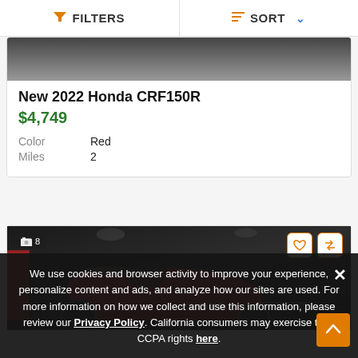FILTERS  SORT
[Figure (screenshot): Partial top of a motorcycle listing image (dark/rocky background)]
New 2022 Honda CRF150R
$4,749
Color: Red
Miles: 2
[Figure (photo): Red Honda motorcycle (CRF150R) displayed in a dealership showroom, front/top view. Badge showing '8 photos'. Heart and compare icons shown top-right.]
We use cookies and browser activity to improve your experience, personalize content and ads, and analyze how our sites are used. For more information on how we collect and use this information, please review our Privacy Policy. California consumers may exercise their CCPA rights here.